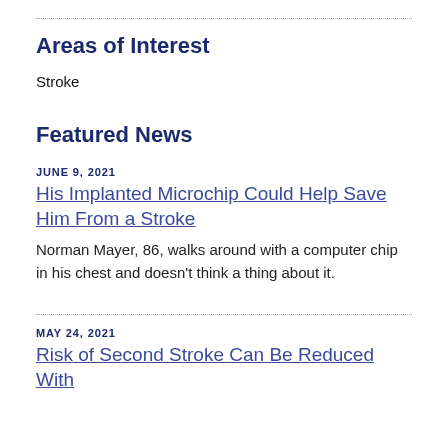Areas of Interest
Stroke
Featured News
JUNE 9, 2021
His Implanted Microchip Could Help Save Him From a Stroke
Norman Mayer, 86, walks around with a computer chip in his chest and doesn't think a thing about it.
MAY 24, 2021
Risk of Second Stroke Can Be Reduced With